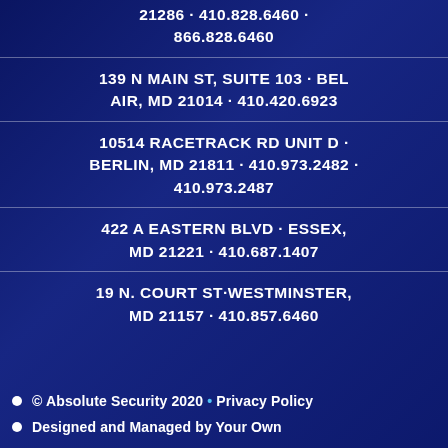21286 · 410.828.6460 · 866.828.6460
139 N MAIN ST, SUITE 103 · BEL AIR, MD 21014 · 410.420.6923
10514 RACETRACK RD UNIT D · BERLIN, MD 21811 · 410.973.2482 · 410.973.2487
422 A EASTERN BLVD · ESSEX, MD 21221 · 410.687.1407
19 N. COURT ST·WESTMINSTER, MD 21157 · 410.857.6460
© Absolute Security 2020 • Privacy Policy
Designed and Managed by Your Own